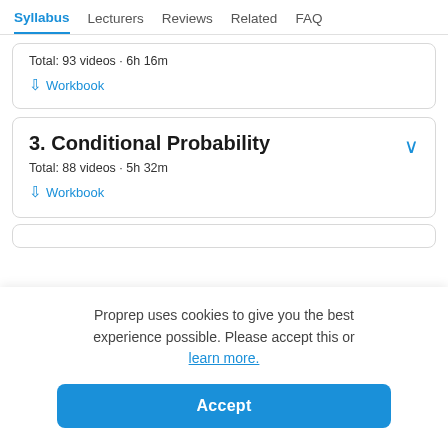Syllabus  Lecturers  Reviews  Related  FAQ
Total: 93 videos · 6h 16m
↓ Workbook
3. Conditional Probability
Total: 88 videos · 5h 32m
↓ Workbook
Proprep uses cookies to give you the best experience possible. Please accept this or learn more.
Accept